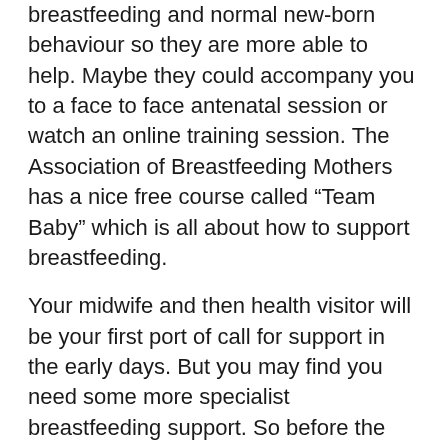breastfeeding and normal new-born behaviour so they are more able to help. Maybe they could accompany you to a face to face antenatal session or watch an online training session. The Association of Breastfeeding Mothers has a nice free course called “Team Baby” which is all about how to support breastfeeding.
Your midwife and then health visitor will be your first port of call for support in the early days. But you may find you need some more specialist breastfeeding support. So before the babies arrive find out what is available locally. See if you can find your local breastfeeding support group, your local breastfeeding counsellor and your local International Board Certified Lactation